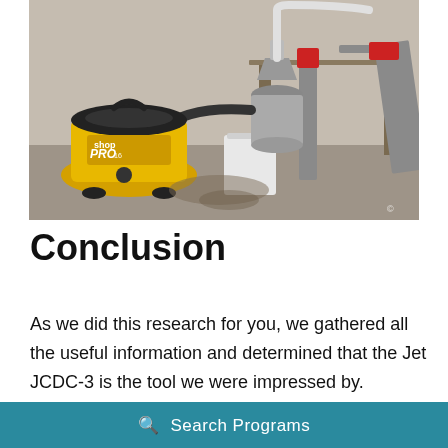[Figure (photo): A yellow Shop-Vac Pro shop vacuum connected via hose to a dust separator mounted on a stand, with a white bucket underneath the separator. Woodworking tools and a workbench are visible in the background of a garage or workshop setting.]
Conclusion
As we did this research for you, we gathered all the useful information and determined that the Jet JCDC-3 is the tool we were impressed by.
🔍 Search Programs